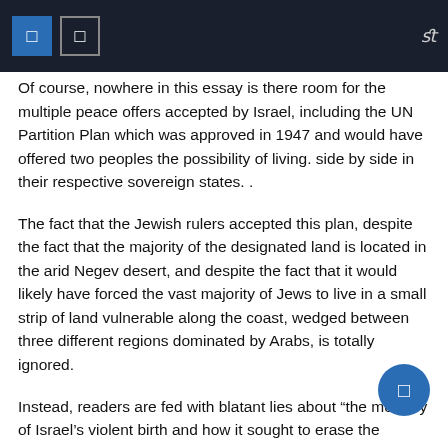Of course, nowhere in this essay is there room for the multiple peace offers accepted by Israel, including the UN Partition Plan which was approved in 1947 and would have offered two peoples the possibility of living. side by side in their respective sovereign states. .
The fact that the Jewish rulers accepted this plan, despite the fact that the majority of the designated land is located in the arid Negev desert, and despite the fact that it would likely have forced the vast majority of Jews to live in a small strip of land vulnerable along the coast, wedged between three different regions dominated by Arabs, is totally ignored.
Instead, readers are fed with blatant lies about “the memory of Israel’s violent birth and how it sought to erase the existence of Palestine and the Palestinians,” and casually informed that “As a result, Gaza is today at the heart of